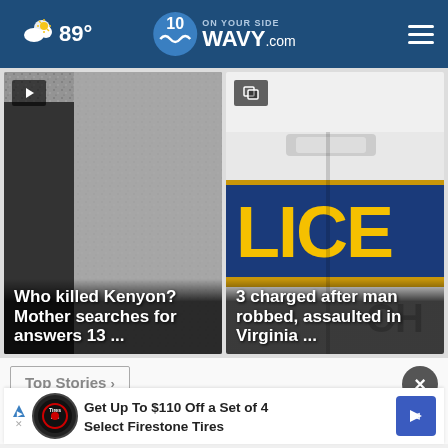89° WAVY.com
[Figure (screenshot): News story thumbnail: Who killed Kenyon? Mother searches for answers 13 ...]
[Figure (screenshot): News story thumbnail: 3 charged after man robbed, assaulted in Virginia ...]
Top Stories >
Get Up To $110 Off a Set of 4 Select Firestone Tires